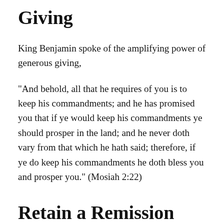Giving
King Benjamin spoke of the amplifying power of generous giving,
“And behold, all that he requires of you is to keep his commandments; and he has promised you that if ye would keep his commandments ye should prosper in the land; and he never doth vary from that which he hath said; therefore, if ye do keep his commandments he doth bless you and prosper you.” (Mosiah 2:22)
Retain a Remission